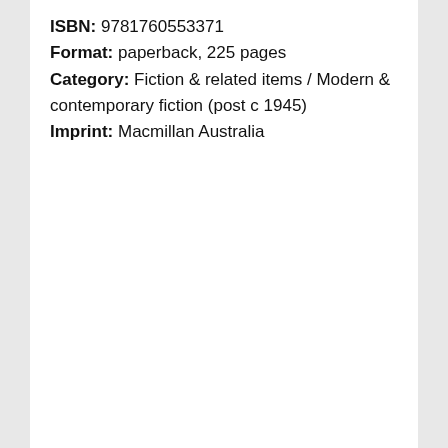ISBN: 9781760553371
Format: paperback, 225 pages
Category: Fiction & related items / Modern & contemporary fiction (post c 1945)
Imprint: Macmillan Australia